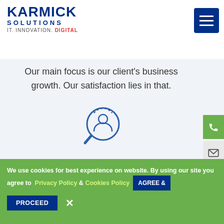Karmick Solutions | IT. INNOVATION. DIGITAL.
Our main focus is our client's business growth. Our satisfaction lies in that.
[Figure (illustration): Icon of a person being searched with a magnifying glass, outlined in blue]
Flexible Hiring Models
Extensive experience in all industry verticals enable the experts to understand client's specific business needs and cater to them exclusively. The websites designs reflect the
We use cookies for best experience on website. By using our site you agree to Privacy Policy & Cookies Policy AGREE & PROCEED